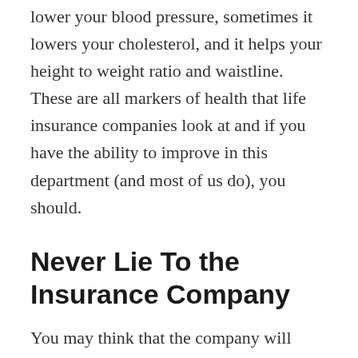lower your blood pressure, sometimes it lowers your cholesterol, and it helps your height to weight ratio and waistline. These are all markers of health that life insurance companies look at and if you have the ability to improve in this department (and most of us do), you should.
Never Lie To the Insurance Company
You may think that the company will never find out if you smoke and a lot of people are tempted to lie about it. You should resist this urge at all costs. Life insurance companies will often look at